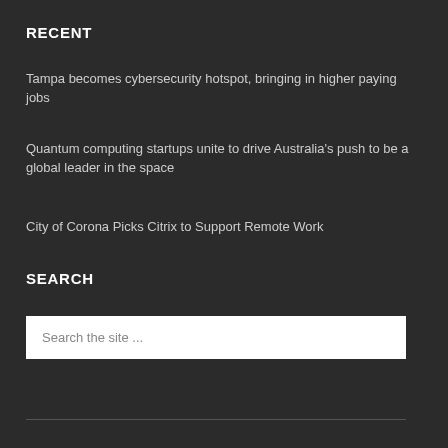RECENT
Tampa becomes cybersecurity hotspot, bringing in higher paying jobs
Quantum computing startups unite to drive Australia's push to be a global leader in the space
City of Corona Picks Citrix to Support Remote Work
SEARCH
Search the site ...